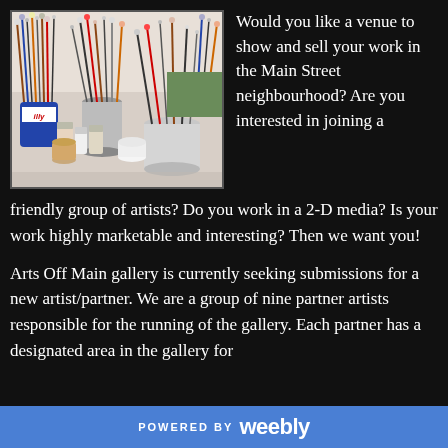[Figure (photo): Photo of artist supplies: paint brushes in cans/cups, small bottles of paint and supplies on a cluttered studio desk, with an illy-branded cup visible]
Would you like a venue to show and sell your work in the Main Street neighbourhood? Are you interested in joining a friendly group of artists? Do you work in a 2-D media? Is your work highly marketable and interesting? Then we want you!
Arts Off Main gallery is currently seeking submissions for a new artist/partner. We are a group of nine partner artists responsible for the running of the gallery. Each partner has a designated area in the gallery for
POWERED BY weebly